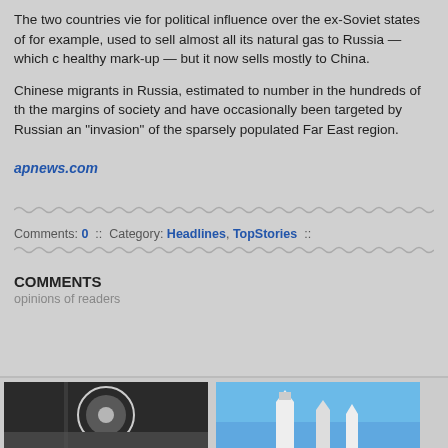The two countries vie for political influence over the ex-Soviet states of for example, used to sell almost all its natural gas to Russia — which c healthy mark-up — but it now sells mostly to China.
Chinese migrants in Russia, estimated to number in the hundreds of th the margins of society and have occasionally been targeted by Russian an "invasion" of the sparsely populated Far East region.
apnews.com
Comments: 0  ::  Category: Headlines, TopStories  ::
COMMENTS
opinions of readers
[Figure (photo): Two thumbnail photos at the bottom of the page — left: dark image with circular/globe element, right: blue sky with buildings/towers]